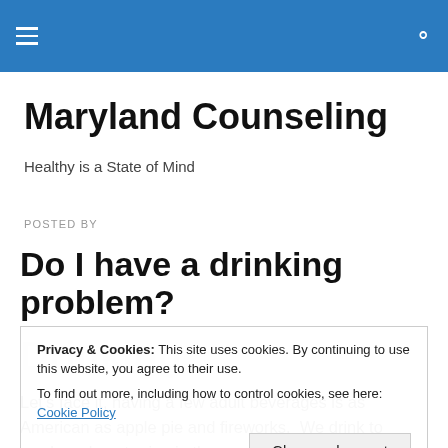Maryland Counseling — navigation header bar
Maryland Counseling
Healthy is a State of Mind
POSTED BY
Do I have a drinking problem?
Privacy & Cookies: This site uses cookies. By continuing to use this website, you agree to their use.
To find out more, including how to control cookies, see here: Cookie Policy
Let's face it, having a few adult beverages is as American as apple pie and fireworks.  We drink to newlyweds or to ring in the new year. We drink mimosas at